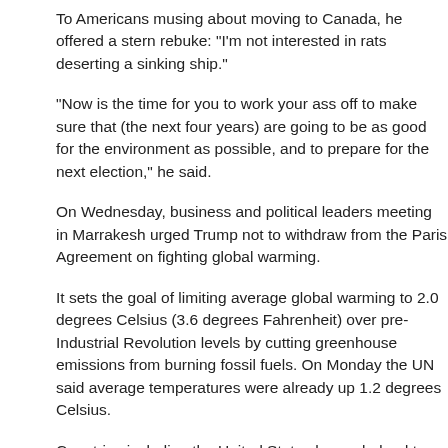To Americans musing about moving to Canada, he offered a stern rebuke: "I'm not interested in rats deserting a sinking ship."
"Now is the time for you to work your ass off to make sure that (the next four years) are going to be as good for the environment as possible, and to prepare for the next election," he said.
On Wednesday, business and political leaders meeting in Marrakesh urged Trump not to withdraw from the Paris Agreement on fighting global warming.
It sets the goal of limiting average global warming to 2.0 degrees Celsius (3.6 degrees Fahrenheit) over pre-Industrial Revolution levels by cutting greenhouse emissions from burning fossil fuels. On Monday the UN said average temperatures were already up 1.2 degrees Celsius.
Countries including the United States have pledged to curb emissions under the deal by moving to renewable energy sources.
But Trump has vowed to boost oil, gas and coal.
Suzuki praised Canadian Prime Minister Justin Trudeau for championing...